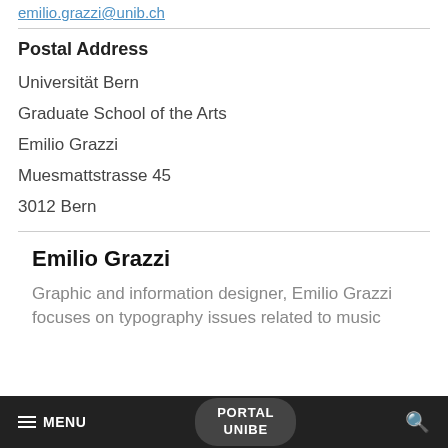emilio.grazzi@unib.ch
Postal Address
Universität Bern
Graduate School of the Arts
Emilio Grazzi
Muesmattstrasse 45
3012 Bern
Emilio Grazzi
Graphic and information designer, Emilio Grazzi focuses on typography issues related to music
MENU   PORTAL UNIBE   🔍